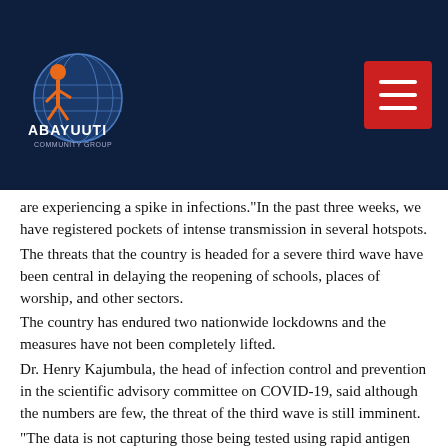[Figure (logo): Abayuuti Community Group logo — globe with figure and text on dark navy background]
are experiencing a spike in infections.“In the past three weeks, we have registered pockets of intense transmission in several hotspots.
The threats that the country is headed for a severe third wave have been central in delaying the reopening of schools, places of worship, and other sectors.
The country has endured two nationwide lockdowns and the measures have not been completely lifted.
Dr. Henry Kajumbula, the head of infection control and prevention in the scientific advisory committee on COVID-19, said although the numbers are few, the threat of the third wave is still imminent.
“The data is not capturing those being tested using rapid antigen diagnostic kits. We are majorly using data for those tested using PCR,” he said. Rapid antigen kits are being used in